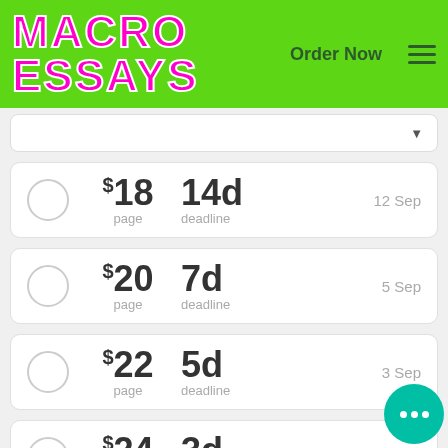[Figure (logo): MacroEssays logo with neon pink text on green background, Order Now button and hamburger menu]
$18 / page | 14d deadline | 12 Sep
$20 / page | 7d deadline | 5 Sep
$22 / page | 5d deadline | 3 Sep
$24 / page | 3d deadline | 1 Sep
$26 / page | 2d deadline | 31 Au...